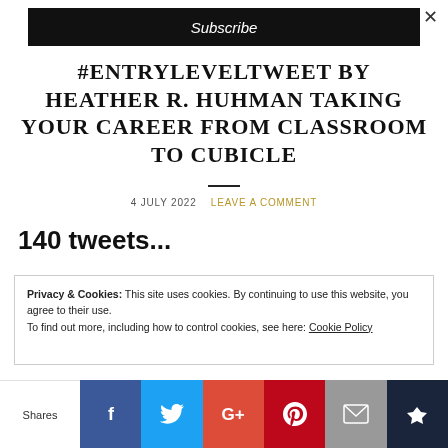Subscribe
#ENTRYLEVELTWEET BY HEATHER R. HUHMAN TAKING YOUR CAREER FROM CLASSROOM TO CUBICLE
4 JULY 2022   LEAVE A COMMENT
140 tweets...
Privacy & Cookies: This site uses cookies. By continuing to use this website, you agree to their use.
To find out more, including how to control cookies, see here: Cookie Policy